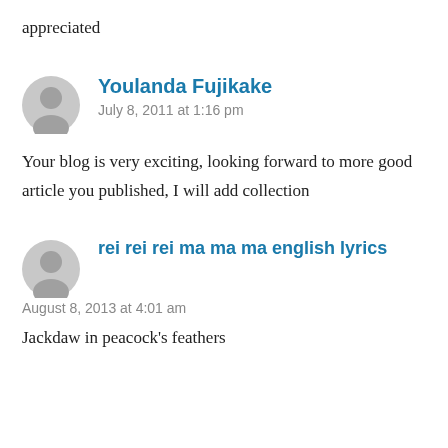appreciated
Youlanda Fujikake
July 8, 2011 at 1:16 pm
Your blog is very exciting, looking forward to more good article you published, I will add collection
rei rei rei ma ma ma english lyrics
August 8, 2013 at 4:01 am
Jackdaw in peacock's feathers